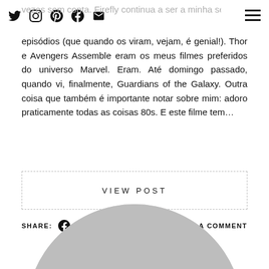Social icons navigation bar with Twitter, Instagram, Pinterest, Facebook, Email icons and hamburger menu
vezes sem conta. Firefly continua a ser a minha série preferida de todos os episódios (que quando o viram, vejam, é genial!). Thor e Avengers Assemble eram os meus filmes preferidos do universo Marvel. Eram. Até domingo passado, quando vi, finalmente, Guardians of the Galaxy. Outra coisa que também é importante notar sobre mim: adoro praticamente todas as coisas 80s. E este filme tem…
VIEW POST
SHARE: [Facebook] [Twitter] [Pinterest] [Tumblr]    LEAVE A COMMENT
[Figure (photo): Person seen from behind with a short bob haircut, sitting inside a large semicircular arch opening with a grey/light background visible through the arch. The image is cropped in a circle shape.]